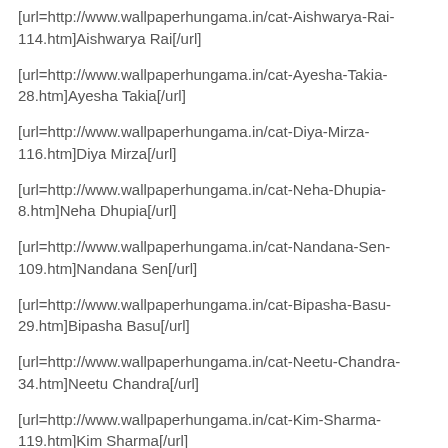[url=http://www.wallpaperhungama.in/cat-Aishwarya-Rai-114.htm]Aishwarya Rai[/url]
[url=http://www.wallpaperhungama.in/cat-Ayesha-Takia-28.htm]Ayesha Takia[/url]
[url=http://www.wallpaperhungama.in/cat-Diya-Mirza-116.htm]Diya Mirza[/url]
[url=http://www.wallpaperhungama.in/cat-Neha-Dhupia-8.htm]Neha Dhupia[/url]
[url=http://www.wallpaperhungama.in/cat-Nandana-Sen-109.htm]Nandana Sen[/url]
[url=http://www.wallpaperhungama.in/cat-Bipasha-Basu-29.htm]Bipasha Basu[/url]
[url=http://www.wallpaperhungama.in/cat-Neetu-Chandra-34.htm]Neetu Chandra[/url]
[url=http://www.wallpaperhungama.in/cat-Kim-Sharma-119.htm]Kim Sharma[/url]